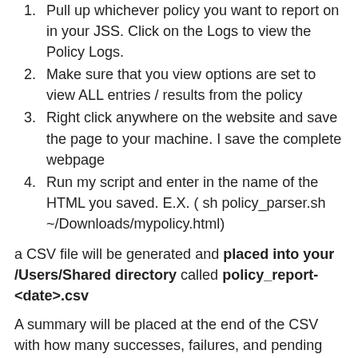1. Pull up whichever policy you want to report on in your JSS. Click on the Logs to view the Policy Logs.
2. Make sure that you view options are set to view ALL entries / results from the policy
3. Right click anywhere on the website and save the page to your machine. I save the complete webpage
4. Run my script and enter in the name of the HTML you saved. E.X. ( sh policy_parser.sh ~/Downloads/mypolicy.html)
a CSV file will be generated and placed into your /Users/Shared directory called policy_report-<date>.csv
A summary will be placed at the end of the CSV with how many successes, failures, and pending there are.
I hope this helps some of you out there!
#!/bin/bash